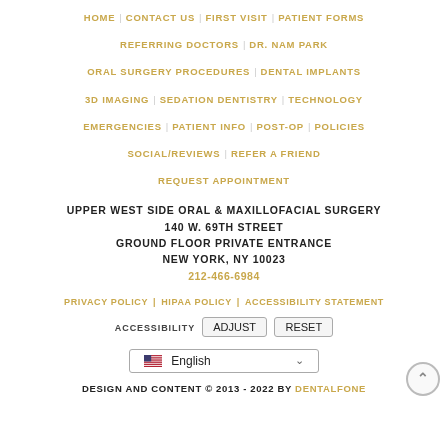HOME | CONTACT US | FIRST VISIT | PATIENT FORMS | REFERRING DOCTORS | DR. NAM PARK | ORAL SURGERY PROCEDURES | DENTAL IMPLANTS | 3D IMAGING | SEDATION DENTISTRY | TECHNOLOGY | EMERGENCIES | PATIENT INFO | POST-OP | POLICIES | SOCIAL/REVIEWS | REFER A FRIEND | REQUEST APPOINTMENT
UPPER WEST SIDE ORAL & MAXILLOFACIAL SURGERY
140 W. 69TH STREET
GROUND FLOOR PRIVATE ENTRANCE
NEW YORK, NY 10023
212-466-6984
PRIVACY POLICY | HIPAA POLICY | ACCESSIBILITY STATEMENT
ACCESSIBILITY Adjust Reset
English
DESIGN AND CONTENT © 2013 - 2022 BY DENTALFONE